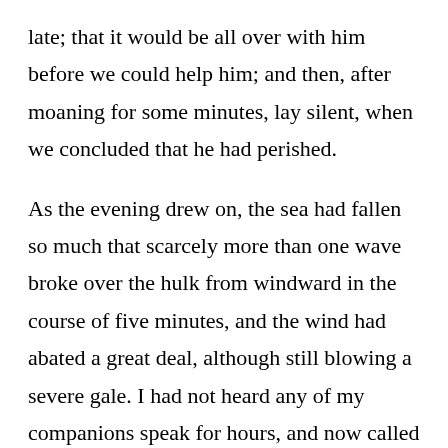late; that it would be all over with him before we could help him; and then, after moaning for some minutes, lay silent, when we concluded that he had perished.

As the evening drew on, the sea had fallen so much that scarcely more than one wave broke over the hulk from windward in the course of five minutes, and the wind had abated a great deal, although still blowing a severe gale. I had not heard any of my companions speak for hours, and now called to Augustus. He replied, although some of his words were lost in the